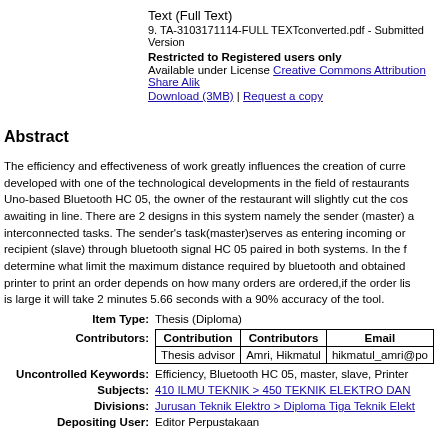Text (Full Text)
9. TA-3103171114-FULL TEXTconverted.pdf - Submitted Version
Restricted to Registered users only
Available under License Creative Commons Attribution Share Alike
Download (3MB) | Request a copy
Abstract
The efficiency and effectiveness of work greatly influences the creation of current... (truncated in view)
| Contribution | Contributors | Email |
| --- | --- | --- |
| Thesis advisor | Amri, Hikmatul | hikmatul_amri@po... |
Item Type: Thesis (Diploma)
Uncontrolled Keywords: Efficiency, Bluetooth HC 05, master, slave, Printer
Subjects: 410 ILMU TEKNIK > 450 TEKNIK ELEKTRO DAN...
Divisions: Jurusan Teknik Elektro > Diploma Tiga Teknik Elekt...
Depositing User: Editor Perpustakaan